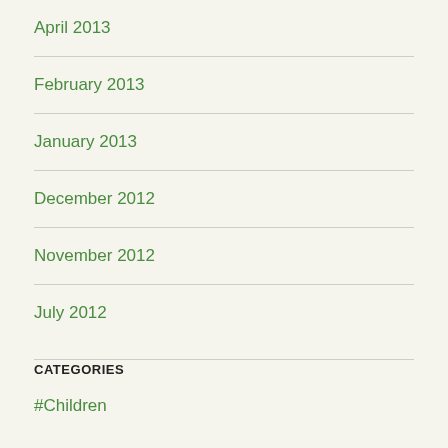April 2013
February 2013
January 2013
December 2012
November 2012
July 2012
CATEGORIES
#Children